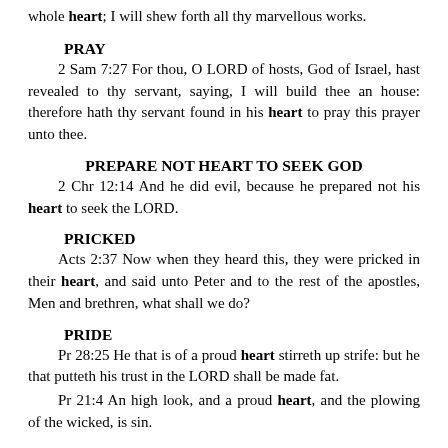whole heart; I will shew forth all thy marvellous works.
PRAY
2 Sam 7:27 For thou, O LORD of hosts, God of Israel, hast revealed to thy servant, saying, I will build thee an house: therefore hath thy servant found in his heart to pray this prayer unto thee.
PREPARE NOT HEART TO SEEK GOD
2 Chr 12:14 And he did evil, because he prepared not his heart to seek the LORD.
PRICKED
Acts 2:37 Now when they heard this, they were pricked in their heart, and said unto Peter and to the rest of the apostles, Men and brethren, what shall we do?
PRIDE
Pr 28:25 He that is of a proud heart stirreth up strife: but he that putteth his trust in the LORD shall be made fat.
Pr 21:4 An high look, and a proud heart, and the plowing of the wicked, is sin.